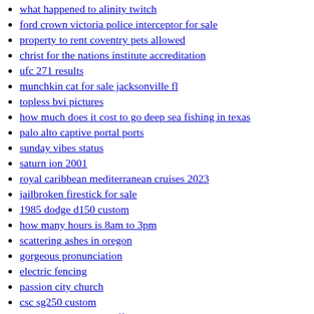what happened to alinity twitch
ford crown victoria police interceptor for sale
property to rent coventry pets allowed
christ for the nations institute accreditation
ufc 271 results
munchkin cat for sale jacksonville fl
topless bvi pictures
how much does it cost to go deep sea fishing in texas
palo alto captive portal ports
sunday vibes status
saturn ion 2001
royal caribbean mediterranean cruises 2023
jailbroken firestick for sale
1985 dodge d150 custom
how many hours is 8am to 3pm
scattering ashes in oregon
gorgeous pronunciation
electric fencing
passion city church
csc sg250 custom
avalon bowery place affordable housing
prayer room
chucky x reader quotev
hilton head weather in april 2022
arkansas tech football name